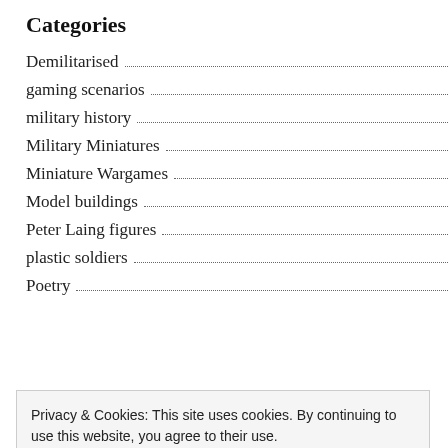Categories
Demilitarised
gaming scenarios
military history
Military Miniatures
Miniature Wargames
Model buildings
Peter Laing figures
plastic soldiers
Poetry
Privacy & Cookies: This site uses cookies. By continuing to use this website, you agree to their use.
To find out more, including how to control cookies, see here:
Cookie Policy
Close and accept
Wargames